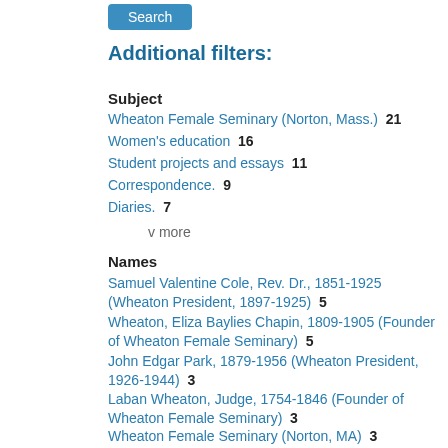Search
Additional filters:
Subject
Wheaton Female Seminary (Norton, Mass.)  21
Women's education  16
Student projects and essays  11
Correspondence.  9
Diaries.  7
v more
Names
Samuel Valentine Cole, Rev. Dr., 1851-1925 (Wheaton President, 1897-1925)  5
Wheaton, Eliza Baylies Chapin, 1809-1905 (Founder of Wheaton Female Seminary)  5
John Edgar Park, 1879-1956 (Wheaton President, 1926-1944)  3
Laban Wheaton, Judge, 1754-1846 (Founder of Wheaton Female Seminary)  3
Wheaton Female Seminary (Norton, MA)  3
v more